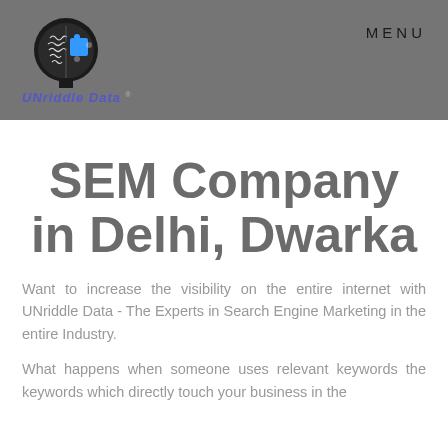[Figure (logo): UNriddle Data logo: a human head silhouette split into a brain diagram on the left and a blue puzzle piece on the right, with colorful text logo below reading 'UNriddle Data']
MENU
SEM Company in Delhi, Dwarka
Want to increase the visibility on the entire internet with UNriddle Data - The Experts in Search Engine Marketing in the entire Industry.
What happens when someone uses relevant keywords the keywords which directly touch your business in the